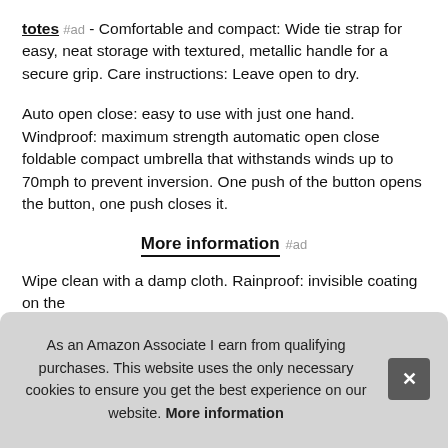totes #ad - Comfortable and compact: Wide tie strap for easy, neat storage with textured, metallic handle for a secure grip. Care instructions: Leave open to dry.
Auto open close: easy to use with just one hand. Windproof: maximum strength automatic open close foldable compact umbrella that withstands winds up to 70mph to prevent inversion. One push of the button opens the button, one push closes it.
More information #ad
Wipe clean with a damp cloth. Rainproof: invisible coating on the [obscured] wat[er] than fold[able]
As an Amazon Associate I earn from qualifying purchases. This website uses the only necessary cookies to ensure you get the best experience on our website. More information